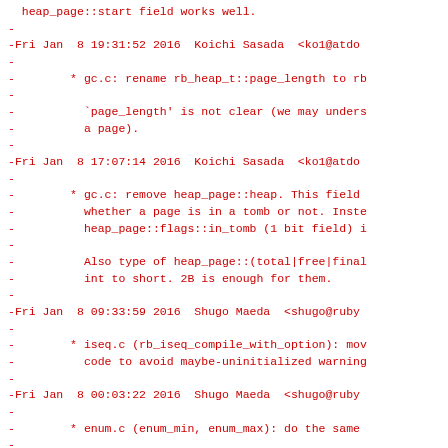heap_page::start field works well.
-
-Fri Jan  8 19:31:52 2016  Koichi Sasada  <ko1@atdo
-
-        * gc.c: rename rb_heap_t::page_length to rb
-
-          `page_length' is not clear (we may unders
-          a page).
-
-Fri Jan  8 17:07:14 2016  Koichi Sasada  <ko1@atdo
-
-        * gc.c: remove heap_page::heap. This field
-          whether a page is in a tomb or not. Inste
-          heap_page::flags::in_tomb (1 bit field) i
-
-          Also type of heap_page::(total|free|final
-          int to short. 2B is enough for them.
-
-Fri Jan  8 09:33:59 2016  Shugo Maeda  <shugo@ruby
-
-        * iseq.c (rb_iseq_compile_with_option): mov
-          code to avoid maybe-uninitialized warning
-
-Fri Jan  8 00:03:22 2016  Shugo Maeda  <shugo@ruby
-
-        * enum.c (enum_min, enum_max): do the same
-
-Thu Jan  7 22:32:21 2016  Kenta Murata  <mrkn@mrkn
-
-        * ruby.h: undef HAVE_BUILTIN__BUILTIN_CHOO
-          and HAVE_BUILTIN__BUILTIN_TYPES_COMPAT